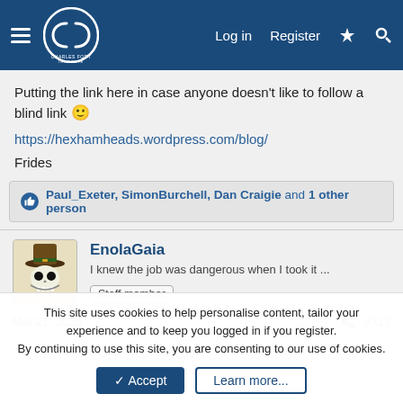Charles Fort Institute — Log in | Register
Putting the link here in case anyone doesn't like to follow a blind link 🙂
https://hexhamheads.wordpress.com/blog/
Frides
Paul_Exeter, SimonBurchell, Dan Craigie and 1 other person
EnolaGaia
I knew the job was dangerous when I took it ... Staff member
Mar 21, 2020 #313
This site uses cookies to help personalise content, tailor your experience and to keep you logged in if you register. By continuing to use this site, you are consenting to our use of cookies.